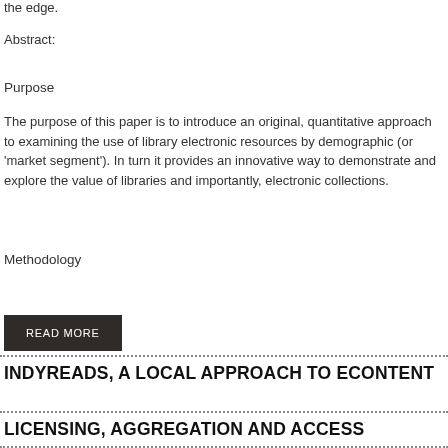the edge.
Abstract:
Purpose
The purpose of this paper is to introduce an original, quantitative approach to examining the use of library electronic resources by demographic (or 'market segment'). In turn it provides an innovative way to demonstrate and explore the value of libraries and importantly, electronic collections.
Methodology
READ MORE
INDYREADS, A LOCAL APPROACH TO ECONTENT
LICENSING, AGGREGATION AND ACCESS